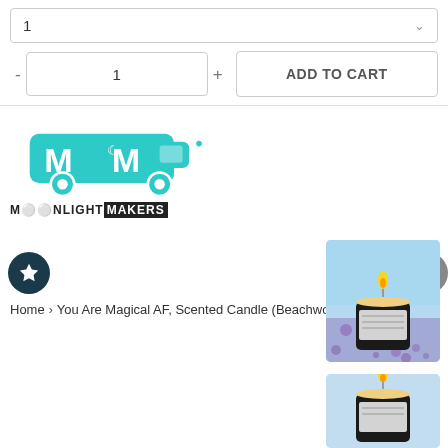1
- 1 + ADD TO CART
[Figure (logo): Moonlight Makers logo: teal food truck with stylized MM letters and moon/star motifs, text MOONLIGHTMAKERS below]
Home › You Are Magical AF, Scented Candle (Beachwood Scent)
[Figure (photo): Scented candle with lit flame in black container against blue glittery background]
[Figure (photo): Second candle product photo, partially visible at bottom]